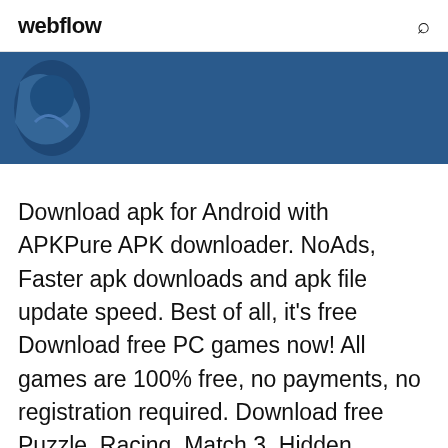webflow
[Figure (illustration): Dark blue banner with a partial blue graphic/icon visible on the left side against a dark blue background]
Download apk for Android with APKPure APK downloader. NoAds, Faster apk downloads and apk file update speed. Best of all, it's free Download free PC games now! All games are 100% free, no payments, no registration required. Download free Puzzle, Racing, Match 3, Hidden Objects games.